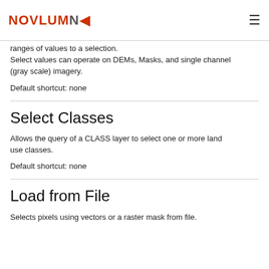NOVLUMN
ranges of values to a selection.
Select values can operate on DEMs, Masks, and single channel (gray scale) imagery.
Default shortcut: none
Select Classes
Allows the query of a CLASS layer to select one or more land use classes.
Default shortcut: none
Load from File
Selects pixels using vectors or a raster mask from file.